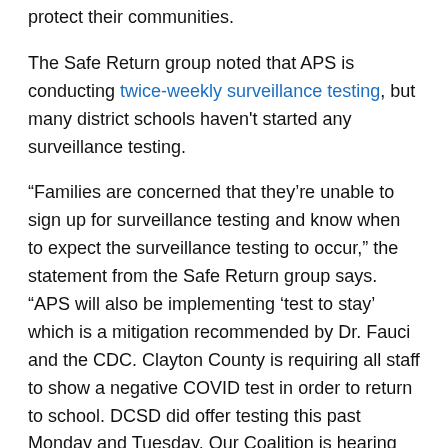protect their communities.
The Safe Return group noted that APS is conducting twice-weekly surveillance testing, but many district schools haven't started any surveillance testing.
“Families are concerned that they’re unable to sign up for surveillance testing and know when to expect the surveillance testing to occur,” the statement from the Safe Return group says. “APS will also be implementing ‘test to stay’ which is a mitigation recommended by Dr. Fauci and the CDC. Clayton County is requiring all staff to show a negative COVID test in order to return to school. DCSD did offer testing this past Monday and Tuesday. Our Coalition is hearing from teachers who were the very first to get tested that they have yet to receive their results. Rockdale County will stay virtual next week.”